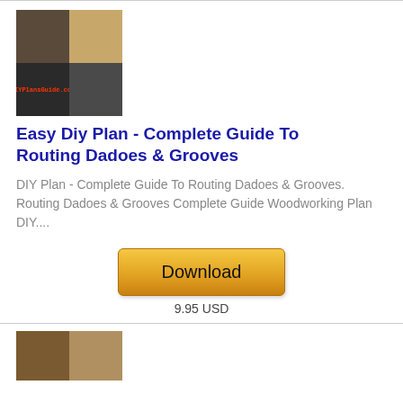[Figure (photo): Book cover image showing woodworking tools and wood pieces in a 2x2 grid layout with DIYPlansGuide.com logo]
Easy Diy Plan - Complete Guide To Routing Dadoes & Grooves
DIY Plan - Complete Guide To Routing Dadoes & Grooves. Routing Dadoes & Grooves Complete Guide Woodworking Plan DIY....
[Figure (other): Download button with golden/amber gradient style]
9.95 USD
[Figure (photo): Partial second product image showing woodworking scene, 2-panel layout]